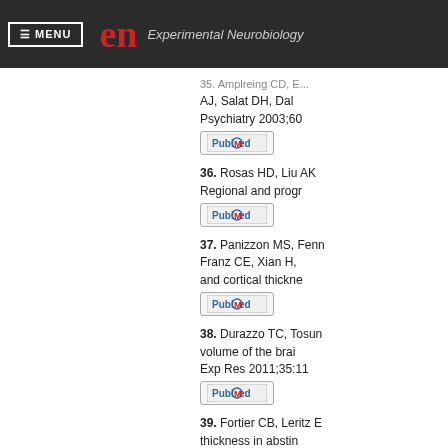≡ MENU  en  Experimental Neurobiology
35. (partial) ...AJ, Salat DH, Dal... Psychiatry 2003;60...
36. Rosas HD, Liu AK... Regional and progr...
37. Panizzon MS, Fenn... Franz CE, Xian H, ... and cortical thickne...
38. Durazzo TC, Tosun... volume of the brai... Exp Res 2011;35:11...
39. Fortier CB, Leritz E... thickness in abstin...